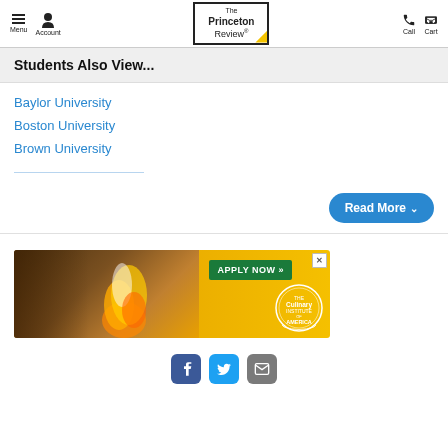Menu | Account | The Princeton Review | Call | Cart
Students Also View...
Baylor University
Boston University
Brown University
[Figure (photo): Advertisement for Culinary Institute of America showing a chef cooking with flames, an 'APPLY NOW' button in green, and the CIA logo on a yellow/gold background.]
[Figure (infographic): Social media icons: Facebook (blue), Twitter (cyan), and Email (grey)]